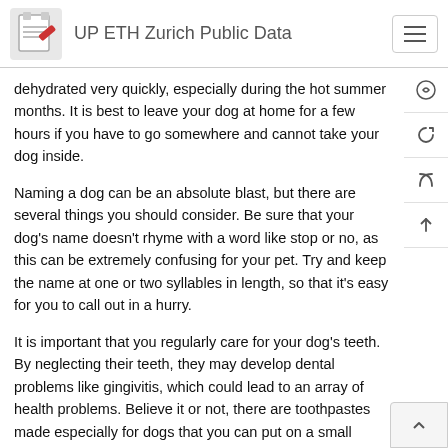UP ETH Zurich Public Data
dehydrated very quickly, especially during the hot summer months. It is best to leave your dog at home for a few hours if you have to go somewhere and cannot take your dog inside.
Naming a dog can be an absolute blast, but there are several things you should consider. Be sure that your dog's name doesn't rhyme with a word like stop or no, as this can be extremely confusing for your pet. Try and keep the name at one or two syllables in length, so that it's easy for you to call out in a hurry.
It is important that you regularly care for your dog's teeth. By neglecting their teeth, they may develop dental problems like gingivitis, which could lead to an array of health problems. Believe it or not, there are toothpastes made especially for dogs that you can put on a small toothbrush to brush their teeth.
Do not give in to the temptation to get a puppy without knowing how to take care of it properly. Educate yourself about the needs of the breed you are considering before...